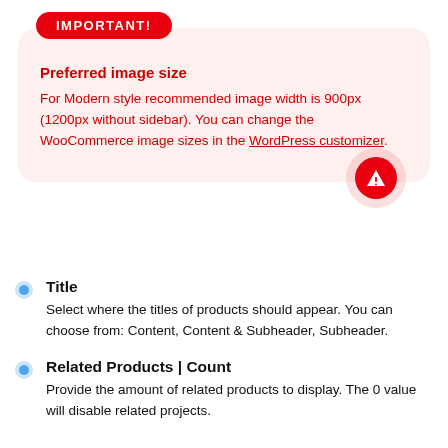IMPORTANT!
Preferred image size
For Modern style recommended image width is 900px (1200px without sidebar). You can change the WooCommerce image sizes in the WordPress customizer.
Title
Select where the titles of products should appear. You can choose from: Content, Content & Subheader, Subheader.
Related Products | Count
Provide the amount of related products to display. The 0 value will disable related projects.